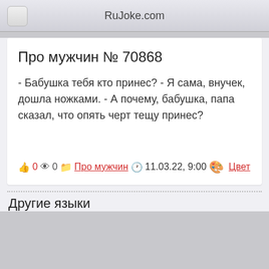RuJoke.com
Про мужчин № 70868
- Бабушка тебя кто принес? - Я сама, внучек, дошла ножками. - А почему, бабушка, папа сказал, что опять черт тещу принес?
👍 0 👁 0 📁 Про мужчин 🕐 11.03.22, 9:00 🎨 Цвет
Другие языки